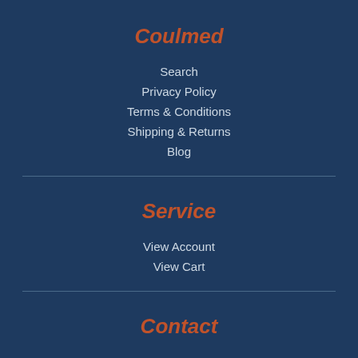Coulmed
Search
Privacy Policy
Terms & Conditions
Shipping & Returns
Blog
Service
View Account
View Cart
Contact
Contact Us
1-800-564-6050